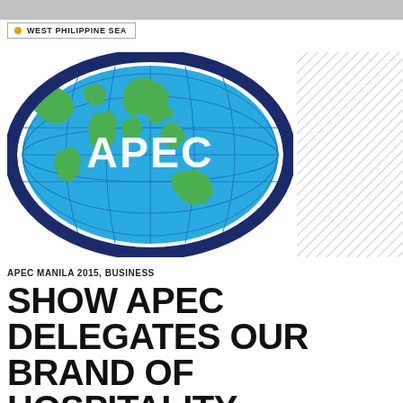WEST PHILIPPINE SEA
[Figure (logo): APEC logo — dark blue oval frame with a globe showing green landmasses and blue oceans with grid lines, white text 'APEC' in bold across the center]
[Figure (other): Hatched/diagonal lines decorative box in grey]
APEC MANILA 2015, BUSINESS
SHOW APEC DELEGATES OUR BRAND OF HOSPITALITY, FILIPINOS TOLD